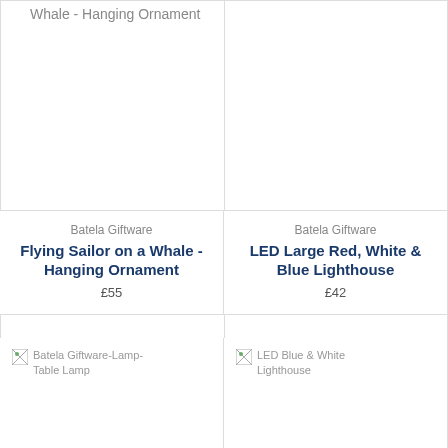Whale - Hanging Ornament
Batela Giftware
Flying Sailor on a Whale - Hanging Ornament
£55
Batela Giftware
LED Large Red, White & Blue Lighthouse
£42
[Figure (photo): Broken image placeholder for Batela Giftware-Lamp-Table Lamp]
[Figure (photo): Broken image placeholder for LED Blue & White Lighthouse]